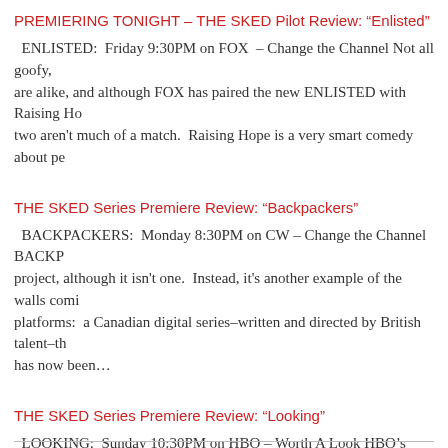PREMIERING TONIGHT – THE SKED Pilot Review: “Enlisted”
ENLISTED:  Friday 9:30PM on FOX  – Change the Channel Not all goofy, are alike, and although FOX has paired the new ENLISTED with Raising Ho two aren't much of a match.  Raising Hope is a very smart comedy about pe
THE SKED Series Premiere Review: “Backpackers”
BACKPACKERS:  Monday 8:30PM on CW – Change the Channel BACKP project, although it isn't one.  Instead, it's another example of the walls comi platforms:  a Canadian digital series–written and directed by British talent–th has now been…
THE SKED Series Premiere Review: “Looking”
LOOKING:  Sunday 10:30PM on HBO – Worth A Look HBO's LOOKING is reason that it's a dramedy about gay characters, of a completely different or a Sean Saves the World or Glee.  That doesn't just mean it's far more sexua